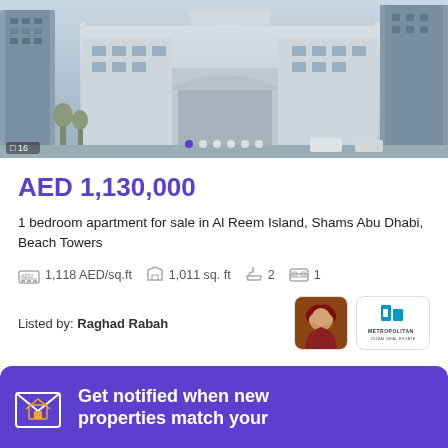[Figure (photo): Exterior photo of a white modern commercial/residential building in an urban setting with skyscrapers. Image carousel showing 16 photos with navigation dots.]
AED 1,130,000
1 bedroom apartment for sale in Al Reem Island, Shams Abu Dhabi, Beach Towers
1,118 AED/sq.ft   1,011 sq. ft   2   1
Listed by: Raghad Rabah
Call  Email  WhatsApp
Get notified when new properties match your